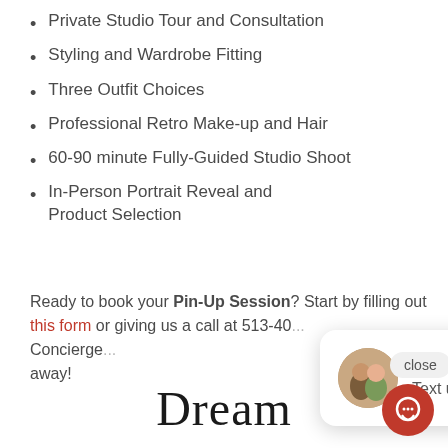Private Studio Tour and Consultation
Styling and Wardrobe Fitting
Three Outfit Choices
Professional Retro Make-up and Hair
60-90 minute Fully-Guided Studio Shoot
In-Person Portrait Reveal and Product Selection
Ready to book your Pin-Up Session? Start by filling out this form or giving us a call at 513-40... Concierge ... away!
[Figure (other): Chat popup widget showing two women avatars and text: Hi there, have a question? Text us here. With a close button.]
Dream
[Figure (other): Red circular chat button with speech bubble icon in bottom right corner]